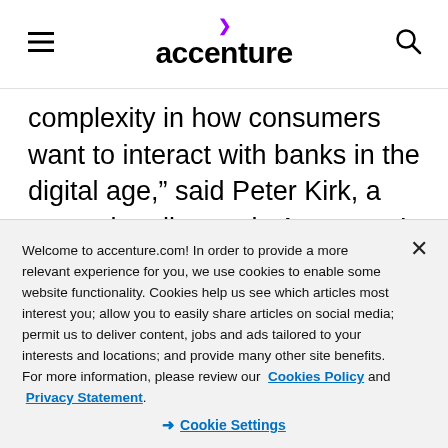accenture
complexity in how consumers want to interact with banks in the digital age,” said Peter Kirk, a managing director in Accenture’s Financial Services group. “The youngest, most tech-savvy-customers still value face-to-face contact as they begin their life’s
Welcome to accenture.com! In order to provide a more relevant experience for you, we use cookies to enable some website functionality. Cookies help us see which articles most interest you; allow you to easily share articles on social media; permit us to deliver content, jobs and ads tailored to your interests and locations; and provide many other site benefits. For more information, please review our Cookies Policy and Privacy Statement.
Cookie Settings